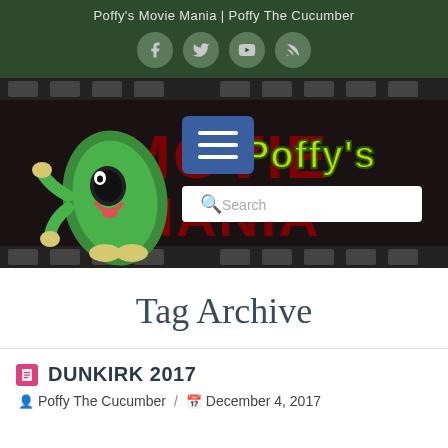Poffy's Movie Mania | Poffy The Cucumber
[Figure (screenshot): Poffy's Movie Mania website banner with green cartoon cucumber character, red 'MOVIE MANIA' text, 'Poffy's' in yellow-green, blue menu button with hamburger icon, and search bar]
Tag Archive
DUNKIRK 2017
Poffy The Cucumber / December 4, 2017